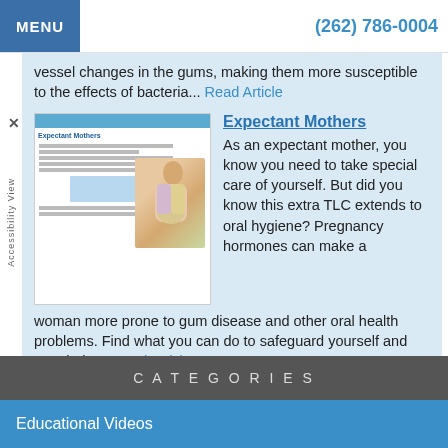MENU  (262) 786-0004
vessel changes in the gums, making them more susceptible to the effects of bacteria... Read Article
Expectant Mothers
[Figure (illustration): Magazine article page showing 'Expectant Mothers' with a photo of a pregnant woman]
As an expectant mother, you know you need to take special care of yourself. But did you know this extra TLC extends to oral hygiene? Pregnancy hormones can make a woman more prone to gum disease and other oral health problems. Find what you can do to safeguard yourself and your baby... Read Article
CATEGORIES
Educational Videos